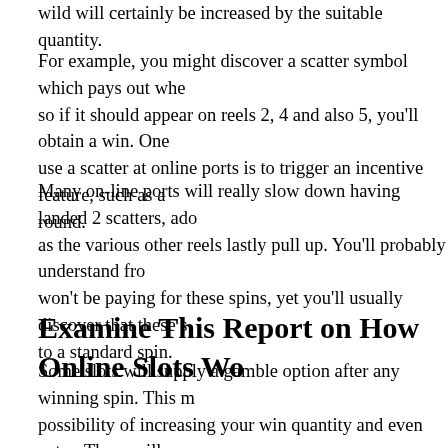wild will certainly be increased by the suitable quantity.
For example, you might discover a scatter symbol which pays out whe so if it should appear on reels 2, 4 and also 5, you'll obtain a win. One use a scatter at online ports is to trigger an incentive feature, such as a round.
Many on-line ports will really slow down having landed 2 scatters, ado as the various other reels lastly pull up. You'll probably understand fro won't be paying for these spins, yet you'll usually discover that these s to a standard spin.
Examine This Report on How Online Slots Wo
Some slots will supply a gamble option after any winning spin. This m possibility of increasing your win quantity and even extra. These will n the turn of a having fun card or the throw of a coin, although these car
These Jackpots are formed by a small portion of each stake being appo which is why you'll see these Prize payout amounts ticking non-stop u are standalone at specific ports, while others are pooled across a variet